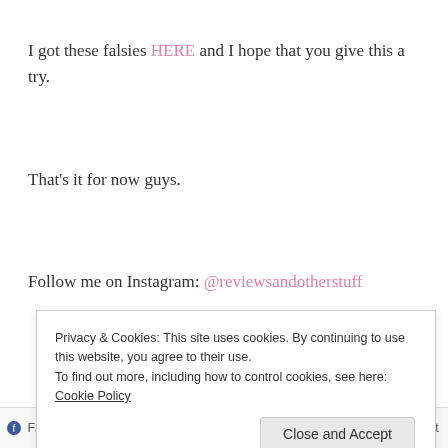I got these falsies HERE and I hope that you give this a try.
That's it for now guys.
Follow me on Instagram: @reviewsandotherstuff
Privacy & Cookies: This site uses cookies. By continuing to use this website, you agree to their use.
To find out more, including how to control cookies, see here: Cookie Policy
Close and Accept
Facebook  Tumblr  Pocket  Email  Pinterest